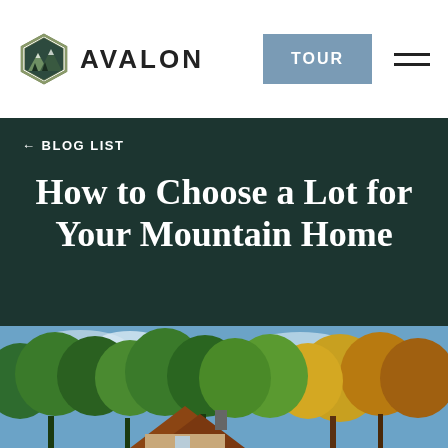AVALON | TOUR
← BLOG LIST
How to Choose a Lot for Your Mountain Home
[Figure (photo): Exterior photo of a mountain home surrounded by lush green and autumn-colored trees under a partly cloudy sky.]